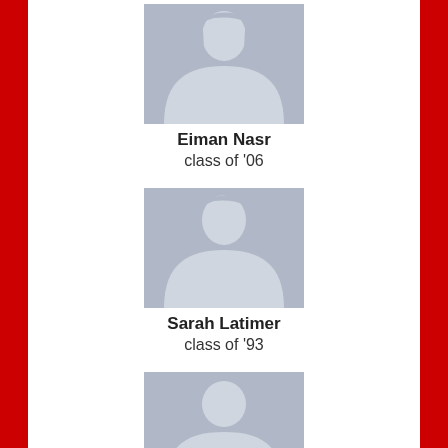[Figure (illustration): Generic female silhouette placeholder avatar for Eiman Nasr]
Eiman Nasr
class of '06
[Figure (illustration): Generic female silhouette placeholder avatar for Sarah Latimer]
Sarah Latimer
class of '93
[Figure (illustration): Generic male silhouette placeholder avatar for George M Hoffman Hoffman]
George M Hoffman Hoffman
class of '46
[Figure (illustration): Generic male silhouette placeholder avatar for Christopher Storm]
Christopher Storm